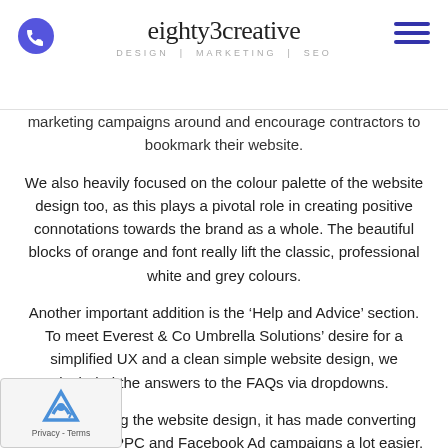eighty3creative | DESIGN | MARKETING | SEO
marketing campaigns around and encourage contractors to bookmark their website.
We also heavily focused on the colour palette of the website design too, as this plays a pivotal role in creating positive connotations towards the brand as a whole. The beautiful blocks of orange and font really lift the classic, professional white and grey colours.
Another important addition is the ‘Help and Advice’ section. To meet Everest & Co Umbrella Solutions’ desire for a simplified UX and a clean simple website design, we included the answers to the FAQs via dropdowns.
Since finishing the website design, it has made converting leads via our PPC and Facebook Ad campaigns a lot easier.
Users are impressed with the calculator feature and